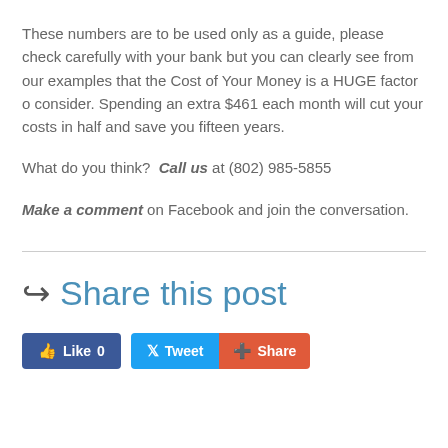These numbers are to be used only as a guide, please check carefully with your bank but you can clearly see from our examples that the Cost of Your Money is a HUGE factor o consider. Spending an extra $461 each month will cut your costs in half and save you fifteen years.
What do you think?  Call us at (802) 985-5855
Make a comment on Facebook and join the conversation.
Share this post
[Figure (infographic): Social sharing buttons: Like 0, Tweet, Share]